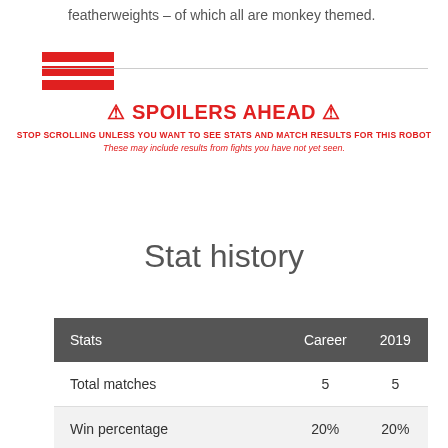featherweights – of which all are monkey themed.
[Figure (other): Three red horizontal bars stacked, forming a menu/hamburger icon, followed by a horizontal rule divider line.]
⚠ SPOILERS AHEAD ⚠
STOP SCROLLING UNLESS YOU WANT TO SEE STATS AND MATCH RESULTS FOR THIS ROBOT
These may include results from fights you have not yet seen.
Stat history
| Stats | Career | 2019 |
| --- | --- | --- |
| Total matches | 5 | 5 |
| Win percentage | 20% | 20% |